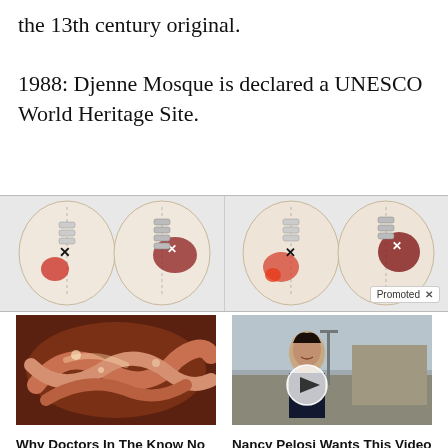the 13th century original.

1988: Djenne Mosque is declared a UNESCO World Heritage Site.
[Figure (illustration): Medical/anatomical advertisement banner showing spine and muscle diagrams, split into two panels with 'Promoted X' badge]
[Figure (photo): Close-up photo of intestines/digestive organs]
Why Doctors In The Know No Longer Prescribe Metformin
🔥 113,538
[Figure (photo): Photo of woman outdoors with video play button overlay]
Nancy Pelosi Wants This Video Destroyed — Watch Now Before It's Banned
🔥 17,993